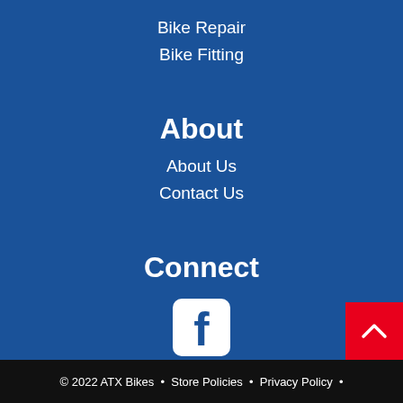Bike Repair
Bike Fitting
About
About Us
Contact Us
Connect
[Figure (logo): Facebook icon — white rounded square with 'f' logo on blue background]
© 2022 ATX Bikes  •  Store Policies  •  Privacy Policy  •